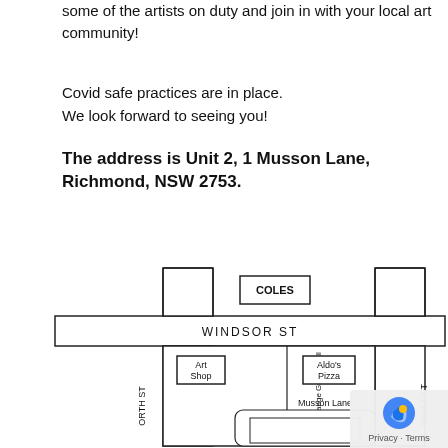some of the artists on duty and join in with your local art community!
Covid safe practices are in place.
We look forward to seeing you!
The address is Unit 2, 1 Musson Lane, Richmond, NSW 2753.
[Figure (map): Street map showing Windsor St, Orange Grove Mall, Musson Lane, with landmarks: COLES, Art Shop, Aldo's Pizza. Streets include North St and Market St.]